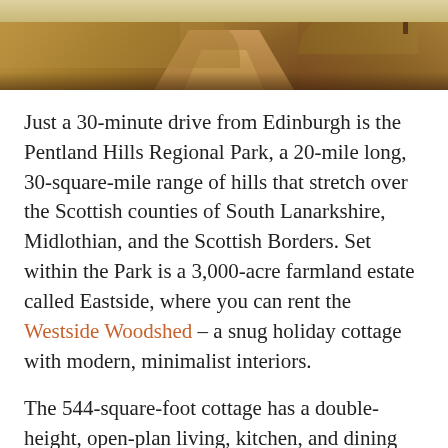[Figure (photo): Landscape photo showing a dirt/gravel path through dry golden grassland hills, photographed from ground level looking ahead. Warm orange-brown tones dominate. A tree is visible at upper right.]
Just a 30-minute drive from Edinburgh is the Pentland Hills Regional Park, a 20-mile long, 30-square-mile range of hills that stretch over the Scottish counties of South Lanarkshire, Midlothian, and the Scottish Borders. Set within the Park is a 3,000-acre farmland estate called Eastside, where you can rent the Westside Woodshed – a snug holiday cottage with modern, minimalist interiors.
The 544-square-foot cottage has a double-height, open-plan living, kitchen, and dining area with walls and ceilings of cross-laminated